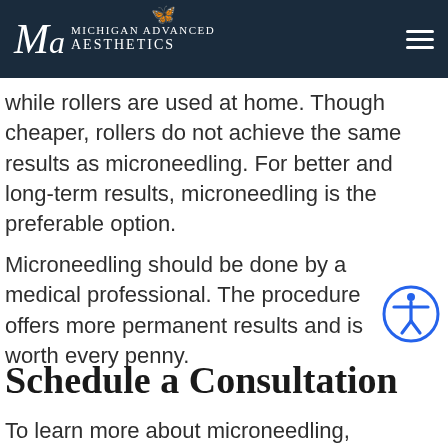Michigan Advanced Aesthetics
while rollers are used at home. Though cheaper, rollers do not achieve the same results as microneedling. For better and long-term results, microneedling is the preferable option.
Microneedling should be done by a medical professional. The procedure offers more permanent results and is worth every penny.
Schedule a Consultation
To learn more about microneedling, schedule a